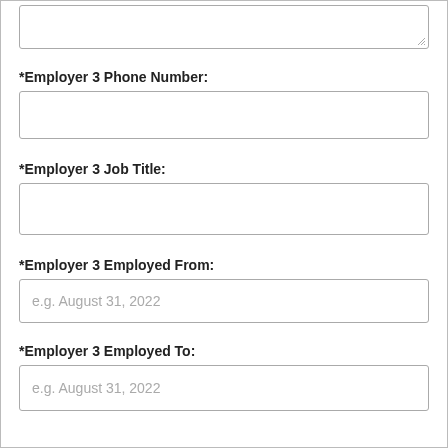[Figure (other): Textarea input box (top, partially visible, with resize handle)]
*Employer 3 Phone Number:
[Figure (other): Empty text input box for Employer 3 Phone Number]
*Employer 3 Job Title:
[Figure (other): Empty text input box for Employer 3 Job Title]
*Employer 3 Employed From:
[Figure (other): Text input box with placeholder: e.g. August 31, 2022]
*Employer 3 Employed To:
[Figure (other): Text input box with placeholder: e.g. August 31, 2022]